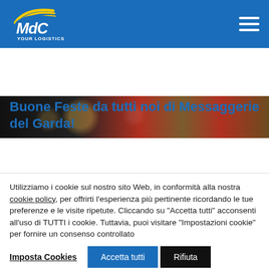MdC YOUR LOGISTICS
[Figure (photo): Decorative bokeh/festive lights header image strip with dark background on left and red/golden tones on right]
Buone Feste da tutti noi di Messaggerie del Garda!
Utilizziamo i cookie sul nostro sito Web, in conformità alla nostra cookie policy, per offrirti l'esperienza più pertinente ricordando le tue preferenze e le visite ripetute. Cliccando su "Accetta tutti" acconsenti all'uso di TUTTI i cookie. Tuttavia, puoi visitare "Impostazioni cookie" per fornire un consenso controllato
Imposta Cookies | Accetta tutti | Rifiuta